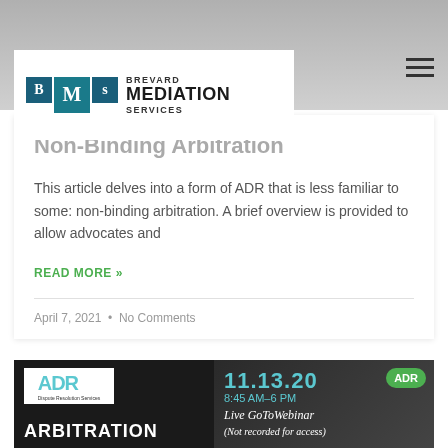[Figure (photo): Lady Justice statue in grayscale background banner]
[Figure (logo): Brevard Mediation Services logo with BMS initials in teal boxes]
Non-Binding Arbitration
This article delves into a form of ADR that is less familiar to some: non-binding arbitration. A brief overview is provided to allow advocates and
READ MORE »
April 7, 2021  •  No Comments
[Figure (photo): ADR arbitration event promotional card with date 11.13.20 and Live GoToWebinar text]